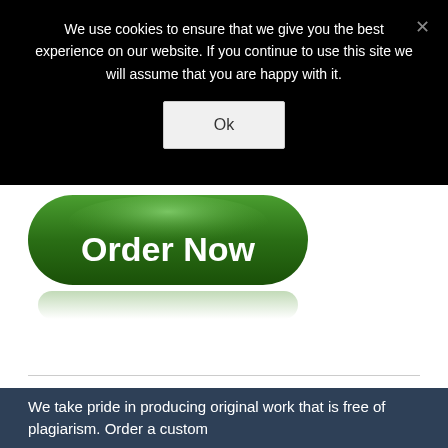We use cookies to ensure that we give you the best experience on our website. If you continue to use this site we will assume that you are happy with it.
[Figure (screenshot): Cookie consent modal overlay with black background, white text, Ok button, and X close button]
[Figure (illustration): Green rounded pill-shaped 'Order Now' button with glossy highlight and reflection below it]
We take pride in producing original work that is free of plagiarism. Order a custom